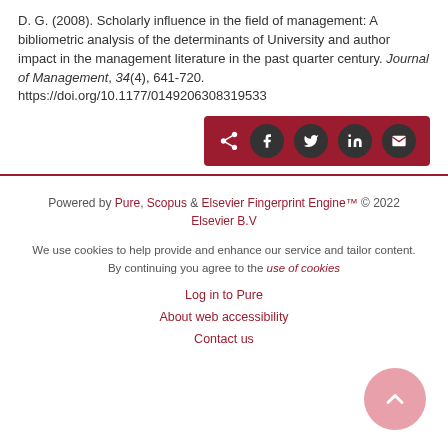D. G. (2008). Scholarly influence in the field of management: A bibliometric analysis of the determinants of University and author impact in the management literature in the past quarter century. Journal of Management, 34(4), 641-720. https://doi.org/10.1177/0149206308319533
[Figure (other): Share buttons bar with dark red background containing share icon and social media buttons: Facebook, Twitter, LinkedIn, Email]
Powered by Pure, Scopus & Elsevier Fingerprint Engine™ © 2022 Elsevier B.V
We use cookies to help provide and enhance our service and tailor content. By continuing you agree to the use of cookies
Log in to Pure
About web accessibility
Contact us